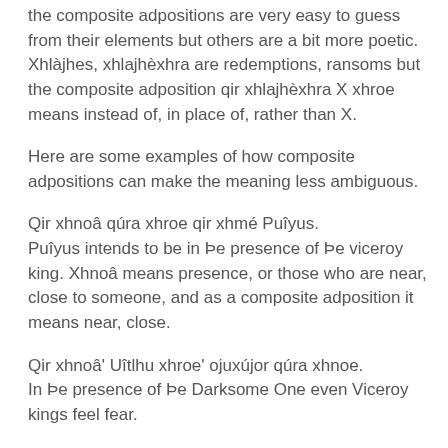the composite adpositions are very easy to guess from their elements but others are a bit more poetic. Xhlàjhes, xhlajhèxhra are redemptions, ransoms but the composite adposition qir xhlajhèxhra X xhroe means instead of, in place of, rather than X.
Here are some examples of how composite adpositions can make the meaning less ambiguous.
Qir xhnoâ qúra xhroe qir xhmé Puîyus.
Puîyus intends to be in Þe presence of Þe viceroy king. Xhnoâ means presence, or those who are near, close to someone, and as a composite adposition it means near, close.
Qir xhnoâ' Uîtlhu xhroe' ojuxújor qúra xhnoe.
In Þe presence of Þe Darksome One even Viceroy kings feel fear.
Qir thèqoa' ijótlha xhroe' óqlaxul.
Many flowren are on Þe hills.
Thèqoa means surfaces, and as a composite adposition